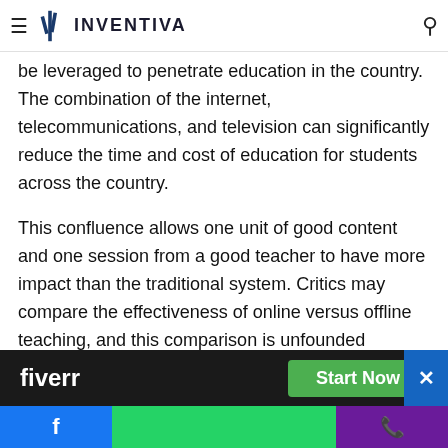INVENTIVA
internet and telecommunications penetration into India should be leveraged to penetrate education in the country. The combination of the internet, telecommunications, and television can significantly reduce the time and cost of education for students across the country.
This confluence allows one unit of good content and one session from a good teacher to have more impact than the traditional system. Critics may compare the effectiveness of online versus offline teaching, and this comparison is unfounded because the online mode is complementary, not a substitute.
[Figure (other): Fiverr advertisement banner with Start Now button and close X button]